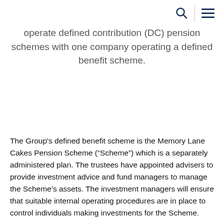[search icon] [menu icon]
operate defined contribution (DC) pension schemes with one company operating a defined benefit scheme.
The Group's defined benefit scheme is the Memory Lane Cakes Pension Scheme (“Scheme”) which is a separately administered plan. The trustees have appointed advisers to provide investment advice and fund managers to manage the Scheme’s assets. The investment managers will ensure that suitable internal operating procedures are in place to control individuals making investments for the Scheme.